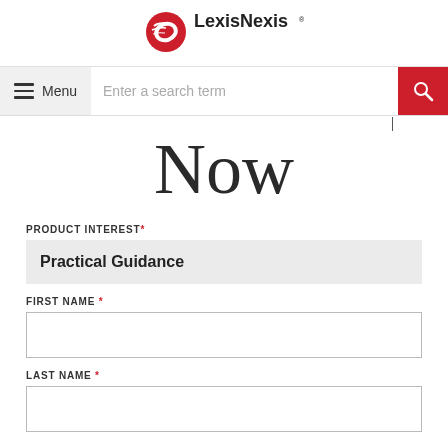[Figure (logo): LexisNexis logo with red bird icon and LexisNexis wordmark]
Menu
Enter a search term
Now
PRODUCT INTEREST *
Practical Guidance
FIRST NAME *
LAST NAME *